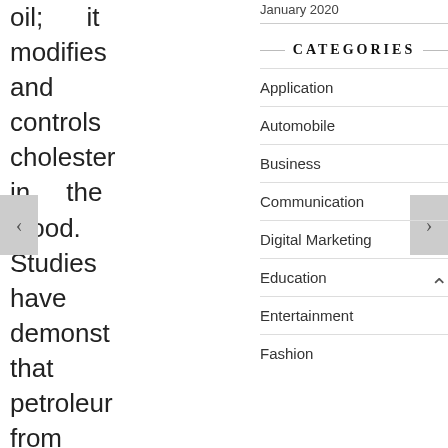oil; it modifies and controls cholesterol in the blood. Studies have demonstrated that petroleum from Avocados can decrease the formation of
January 2020
CATEGORIES
Application
Automobile
Business
Communication
Digital Marketing
Education
Entertainment
Fashion